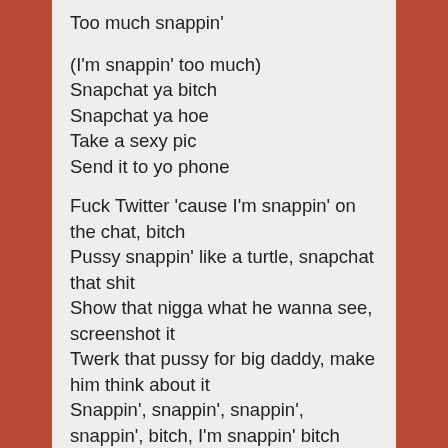Too much snappin'

(I'm snappin' too much)
Snapchat ya bitch
Snapchat ya hoe
Take a sexy pic
Send it to yo phone

Fuck Twitter 'cause I'm snappin' on the chat, bitch
Pussy snappin' like a turtle, snapchat that shit
Show that nigga what he wanna see, screenshot it
Twerk that pussy for big daddy, make him think about it
Snappin', snappin', snappin', snappin', bitch, I'm snappin' bitch
I'm at the bank, I'm at the mall
Snapchat that shit
Spend that money, get that money, snapchat that too
On my way to the club, snapchat my crew
Take my picture, bitch, snapchat that shit
Screenshot my outfits, send a sexy pic
Snapchat my purse, snapchat my shoes
Snanchattin' everythang on this absolute